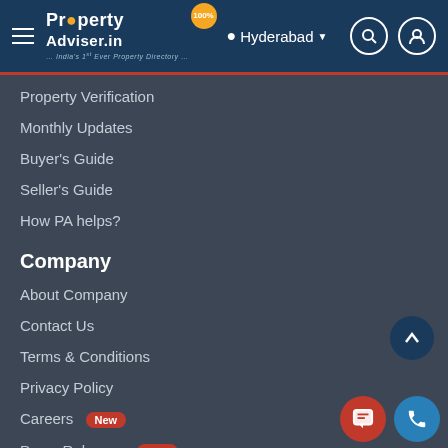PropertyAdviser.in — India's 1st Ever Property Directory — Hyderabad
Property Verification
Monthly Updates
Buyer's Guide
Seller's Guide
How PA helps?
Company
About Company
Contact Us
Terms & Conditions
Privacy Policy
Careers New
Press Releases New
Social Media
[Figure (other): Social media icons: WhatsApp, Twitter, Instagram, YouTube, Pinterest, LinkedIn]